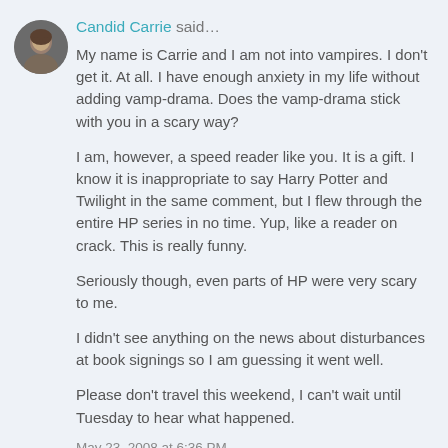Candid Carrie said… My name is Carrie and I am not into vampires. I don't get it. At all. I have enough anxiety in my life without adding vamp-drama. Does the vamp-drama stick with you in a scary way?

I am, however, a speed reader like you. It is a gift. I know it is inappropriate to say Harry Potter and Twilight in the same comment, but I flew through the entire HP series in no time. Yup, like a reader on crack. This is really funny.

Seriously though, even parts of HP were very scary to me.

I didn't see anything on the news about disturbances at book signings so I am guessing it went well.

Please don't travel this weekend, I can't wait until Tuesday to hear what happened.

May 23, 2008 at 6:36 PM